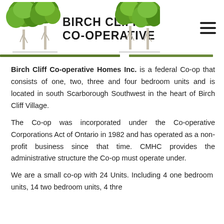[Figure (logo): Birch Cliff Co-operative logo with birch trees on left and right, and text 'Birch Cliff Co-operative' in bold uppercase lettering, with a hamburger menu icon on the right]
Birch Cliff Co-operative Homes Inc. is a federal Co-op that consists of one, two, three and four bedroom units and is located in south Scarborough Southwest in the heart of Birch Cliff Village.
The Co-op was incorporated under the Co-operative Corporations Act of Ontario in 1982 and has operated as a non-profit business since that time. CMHC provides the administrative structure the Co-op must operate under.
We are a small co-op with 24 Units. Including 4 one bedroom units, 14 two bedroom units, 4 three